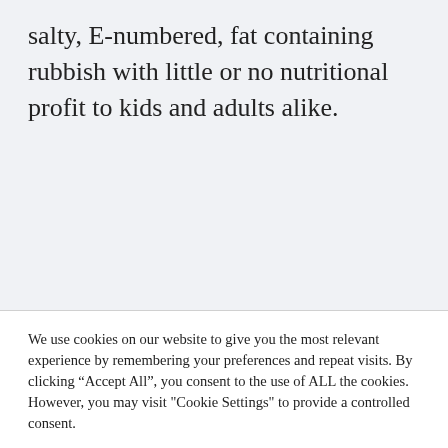salty, E-numbered, fat containing rubbish with little or no nutritional profit to kids and adults alike.
We use cookies on our website to give you the most relevant experience by remembering your preferences and repeat visits. By clicking “Accept All”, you consent to the use of ALL the cookies. However, you may visit "Cookie Settings" to provide a controlled consent.